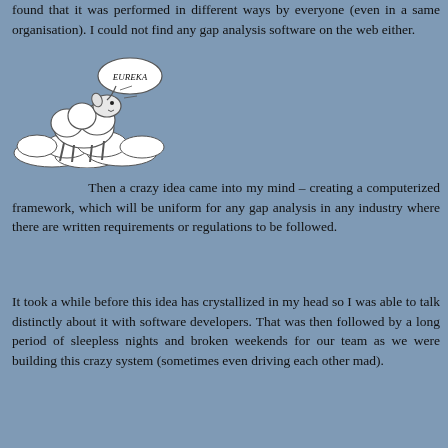found that it was performed in different ways by everyone (even in a same organisation). I could not find any gap analysis software on the web either.
[Figure (illustration): Cartoon illustration of a sheep with a speech bubble saying 'EUREKA', drawn in a sketch style with clouds in the background.]
Then a crazy idea came into my mind – creating a computerized framework, which will be uniform for any gap analysis in any industry where there are written requirements or regulations to be followed.
It took a while before this idea has crystallized in my head so I was able to talk distinctly about it with software developers. That was then followed by a long period of sleepless nights and broken weekends for our team as we were building this crazy system (sometimes even driving each other mad).